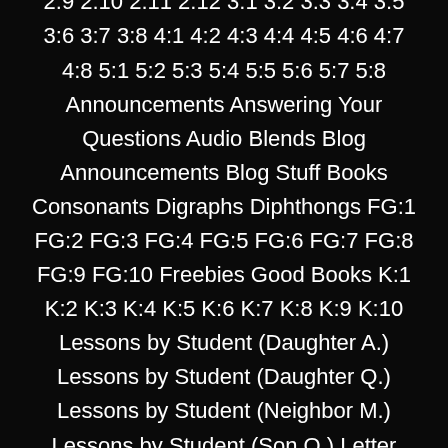1:1 1:2 1:3 1:4 1:5 1:6 1:7 1:8 1:9 1:10 1:11 1:12 2:1 2:2 2:3 2:4 2:5 2:6 2:7 2:8 2:9 2:10 2:11 2:12 3:1 3:2 3:3 3:4 3:5 3:6 3:7 3:8 4:1 4:2 4:3 4:4 4:5 4:6 4:7 4:8 5:1 5:2 5:3 5:4 5:5 5:6 5:7 5:8 Announcements Answering Your Questions Audio Blends Blog Announcements Blog Stuff Books Consonants Digraphs Diphthongs FG:1 FG:2 FG:3 FG:4 FG:5 FG:6 FG:7 FG:8 FG:9 FG:10 Freebies Good Books K:1 K:2 K:3 K:4 K:5 K:6 K:7 K:8 K:9 K:10 Lessons by Student (Daughter A.) Lessons by Student (Daughter Q.) Lessons by Student (Neighbor M.) Lessons by Student (Son O.) Letter Lessons Miscellaneous Parent Testimonials Philosophy of